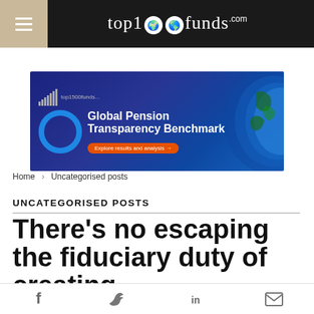top1000funds.com
[Figure (illustration): Advertisement banner for Global Pension Transparency Benchmark by top1000funds.com, featuring blue globe/circle icon, bar chart logo, and an orange CTA button saying 'Explore results and analysis' on a dark blue background with earth image on right.]
Home > Uncategorised posts
UNCATEGORISED POSTS
There’s no escaping the fiduciary duty of creating
f  •  (Twitter bird)  •  in  •  (email)